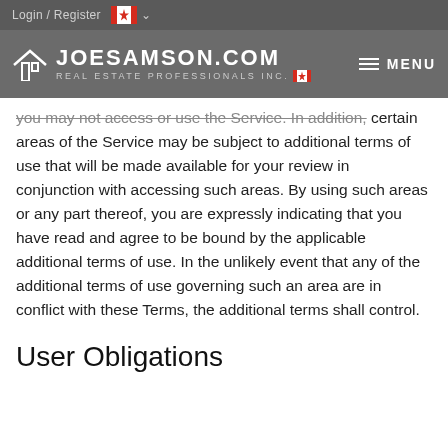Login / Register  [CA flag]  v   JOESAMSON.COM REAL ESTATE PROFESSIONALS INC. [flag]   MENU
you may not access or use the Service. In addition, certain areas of the Service may be subject to additional terms of use that will be made available for your review in conjunction with accessing such areas. By using such areas or any part thereof, you are expressly indicating that you have read and agree to be bound by the applicable additional terms of use. In the unlikely event that any of the additional terms of use governing such an area are in conflict with these Terms, the additional terms shall control.
User Obligations